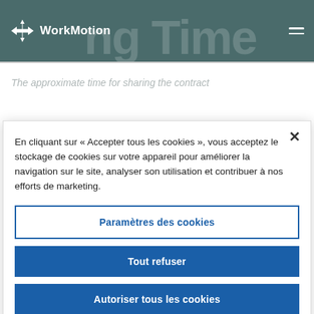WorkMotion
The approximate time for sharing the contract
En cliquant sur « Accepter tous les cookies », vous acceptez le stockage de cookies sur votre appareil pour améliorer la navigation sur le site, analyser son utilisation et contribuer à nos efforts de marketing.
Paramètres des cookies
Tout refuser
Autoriser tous les cookies